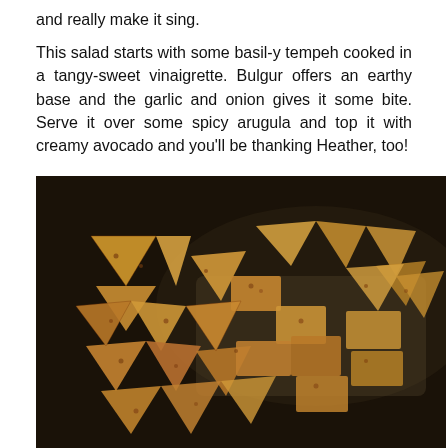and really make it sing.
This salad starts with some basil-y tempeh cooked in a tangy-sweet vinaigrette. Bulgur offers an earthy base and the garlic and onion gives it some bite. Serve it over some spicy arugula and top it with creamy avocado and you'll be thanking Heather, too!
[Figure (photo): Photo of golden-brown cooked tempeh pieces cut into triangles and squares, scattered on a dark pan or baking sheet]